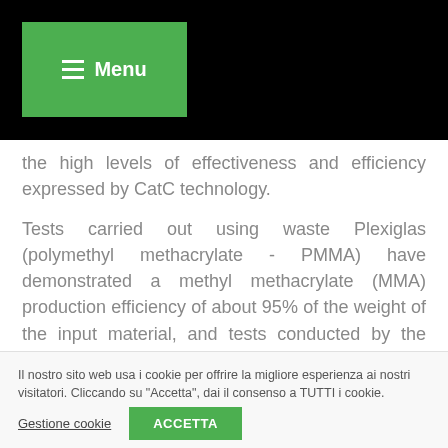Menu
the high levels of effectiveness and efficiency expressed by CatC technology.
Tests carried out using waste Plexiglas (polymethyl methacrylate - PMMA) have demonstrated a methyl methacrylate (MMA) production efficiency of about 95% of the weight of the input material, and tests conducted by the Department of Industrial and
Il nostro sito web usa i cookie per offrire la migliore esperienza ai nostri visitatori. Cliccando su "Accetta", dai il consenso a TUTTI i cookie.
Gestione cookie
ACCETTA